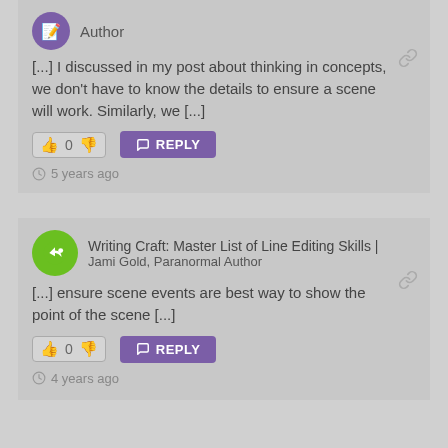Author
[...] I discussed in my post about thinking in concepts, we don't have to know the details to ensure a scene will work. Similarly, we [...]
👍 0 👎  REPLY
5 years ago
Writing Craft: Master List of Line Editing Skills | Jami Gold, Paranormal Author
[...] ensure scene events are best way to show the point of the scene [...]
👍 0 👎  REPLY
4 years ago